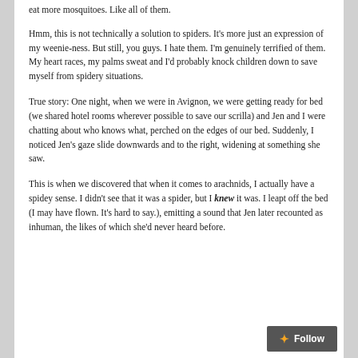eat more mosquitoes. Like all of them.
Hmm, this is not technically a solution to spiders. It's more just an expression of my weenie-ness. But still, you guys. I hate them. I'm genuinely terrified of them. My heart races, my palms sweat and I'd probably knock children down to save myself from spidery situations.
True story: One night, when we were in Avignon, we were getting ready for bed (we shared hotel rooms wherever possible to save our scrilla) and Jen and I were chatting about who knows what, perched on the edges of our bed. Suddenly, I noticed Jen's gaze slide downwards and to the right, widening at something she saw.
This is when we discovered that when it comes to arachnids, I actually have a spidey sense. I didn't see that it was a spider, but I knew it was. I leapt off the bed (I may have flown. It's hard to say.), emitting a sound that Jen later recounted as inhuman, the likes of which she'd never heard before.